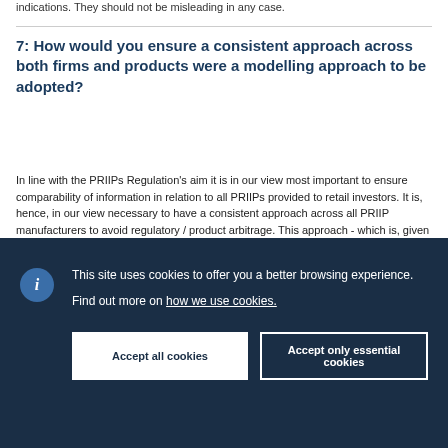indications. They should not be misleading in any case.
7: How would you ensure a consistent approach across both firms and products were a modelling approach to be adopted?
In line with the PRIIPs Regulation's aim it is in our view most important to ensure comparability of information in relation to all PRIIPs provided to retail investors. It is, hence, in our view necessary to have a consistent approach across all PRIIP manufacturers to avoid regulatory / product arbitrage. This approach - which is, given the very wide range of PRIIPs that fall within the scope of the PRIIPs Regulation and very difficult to determine for all PRIIPs – should be defined alongside with the technical standards. The approach for performance scenarios should be in line with the
This site uses cookies to offer you a better browsing experience.

Find out more on how we use cookies.

Accept all cookies    Accept only essential cookies